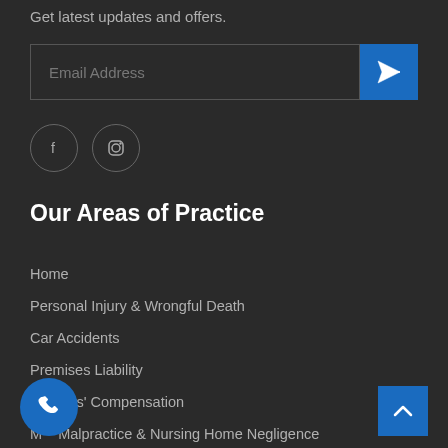Get latest updates and offers.
Email Address
[Figure (infographic): Social media icons: Facebook and Instagram circular outlined buttons]
Our Areas of Practice
Home
Personal Injury & Wrongful Death
Car Accidents
Premises Liability
Workers' Compensation
Medical Malpractice & Nursing Home Negligence